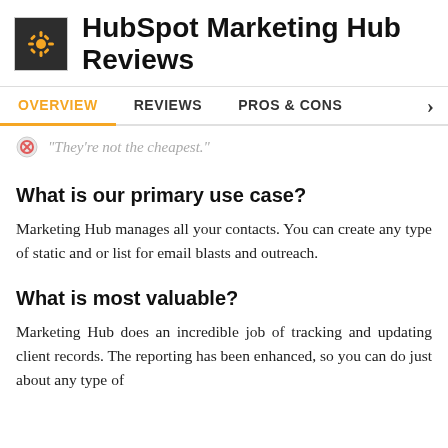HubSpot Marketing Hub Reviews
OVERVIEW  REVIEWS  PROS & CONS
“They’re not the cheapest.”
What is our primary use case?
Marketing Hub manages all your contacts. You can create any type of static and or list for email blasts and outreach.
What is most valuable?
Marketing Hub does an incredible job of tracking and updating client records. The reporting has been enhanced, so you can do just about any type of...